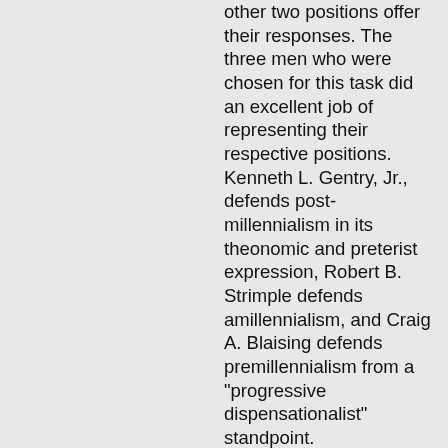other two positions offer their responses. The three men who were chosen for this task did an excellent job of representing their respective positions. Kenneth L. Gentry, Jr., defends post-millennialism in its theonomic and preterist expression, Robert B. Strimple defends amillennialism, and Craig A. Blaising defends premillennialism from a "progressive dispensationalist" standpoint.
The dialogue between the various proponents is carried on with a spirit of Christian charity. Major